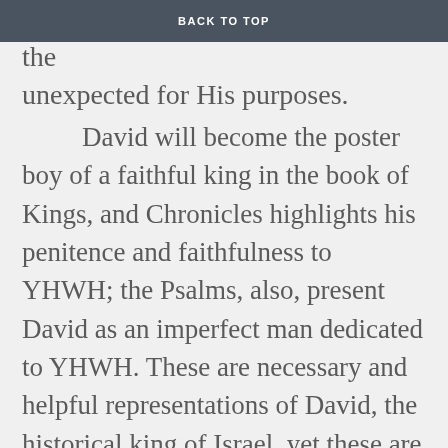stooping to exalt the lowly and use the unexpected for His purposes.
BACK TO TOP
David will become the poster boy of a faithful king in the book of Kings, and Chronicles highlights his penitence and faithfulness to YHWH; the Psalms, also, present David as an imperfect man dedicated to YHWH. These are necessary and helpful representations of David, the historical king of Israel, yet these are not Samuel's portrayal. The books of Samuel represent David at his best initialy—in contrast to Saul—but then more and more at his worst. Samuel wants us to see that God's purposes are not going to be